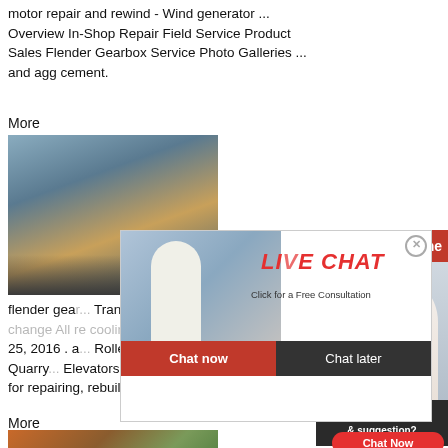motor repair and rewind - Wind generator ... Overview In-Shop Repair Field Service Product Sales Flender Gearbox Service Photo Galleries ... and agg cement.
More
[Figure (photo): Industrial machinery / mining equipment photo showing large industrial plant structures]
flender gear... Transmission... gearbox ove... main, change all re cooling Gear box Cement Mill 3 .Jun 25, 2016 . a... Roller press; Ball mill; Conveyors; Quarry... Elevators; Blowers . comprehensive and... for repairing, rebuilding or refurbishing. G...
More
[Figure (photo): Outdoor construction or excavation site photo]
[Figure (screenshot): Live Chat popup overlay with workers in yellow hard hats, LIVE CHAT heading in red italic, Click for a Free Consultation, Chat now and Chat later buttons]
[Figure (screenshot): Right sidebar with red Hrs Online banner, customer service agent with headset, Need questions & suggestion? text, and Chat Now button]